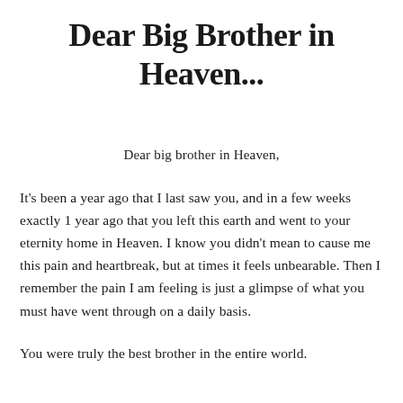Dear Big Brother in Heaven...
Dear big brother in Heaven,
It's been a year ago that I last saw you, and in a few weeks exactly 1 year ago that you left this earth and went to your eternity home in Heaven. I know you didn't mean to cause me this pain and heartbreak, but at times it feels unbearable. Then I remember the pain I am feeling is just a glimpse of what you must have went through on a daily basis.
You were truly the best brother in the entire world.